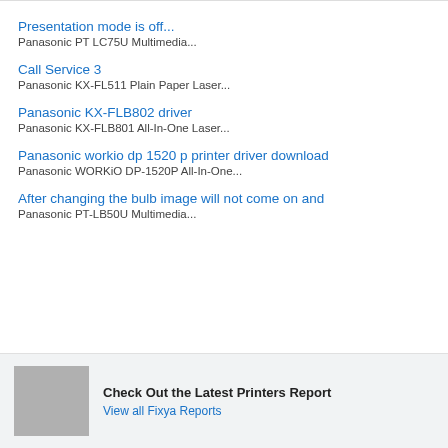Presentation mode is off...
Panasonic PT LC75U Multimedia...
Call Service 3
Panasonic KX-FL511 Plain Paper Laser...
Panasonic KX-FLB802 driver
Panasonic KX-FLB801 All-In-One Laser...
Panasonic workio dp 1520 p printer driver download
Panasonic WORKiO DP-1520P All-In-One...
After changing the bulb image will not come on and
Panasonic PT-LB50U Multimedia...
Check Out the Latest Printers Report
View all Fixya Reports